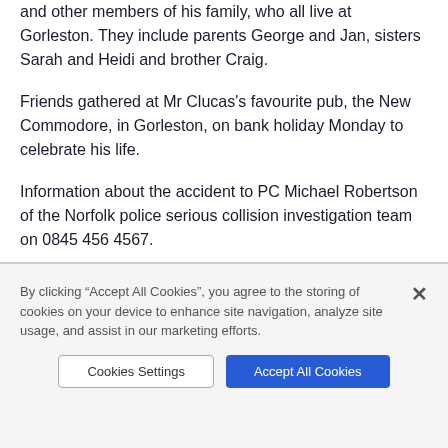and other members of his family, who all live at Gorleston. They include parents George and Jan, sisters Sarah and Heidi and brother Craig.
Friends gathered at Mr Clucas's favourite pub, the New Commodore, in Gorleston, on bank holiday Monday to celebrate his life.
Information about the accident to PC Michael Robertson of the Norfolk police serious collision investigation team on 0845 456 4567.
By clicking “Accept All Cookies”, you agree to the storing of cookies on your device to enhance site navigation, analyze site usage, and assist in our marketing efforts.